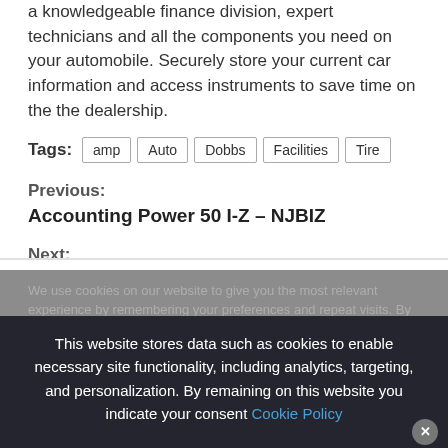a knowledgeable finance division, expert technicians and all the components you need on your automobile. Securely store your current car information and access instruments to save time on the the dealership.
Tags: amp Auto Dobbs Facilities Tire
Previous:
Accounting Power 50 I-Z – NJBIZ
Next:
We use cookies on our website to give you the most relevant experience by remembering your preferences and repeat visits. By clicking "Accept All", you consent to the use of ALL the cookies. However, you may visit "Cookie Settings" to provide a controlled consent
This website stores data such as cookies to enable necessary site functionality, including analytics, targeting, and personalization. By remaining on this website you indicate your consent Cookie Policy